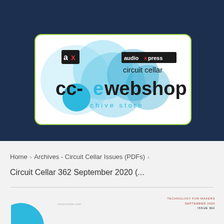Menu   Cart
[Figure (logo): cc-e webshop archive store logo with audioxpress and circuit cellar branding, circular overlapping blue shapes]
Home > Archives - Circuit Cellar Issues (PDFs) >
Circuit Cellar 362 September 2020 (...
[Figure (photo): Partial product preview image of Circuit Cellar 362 September 2020 issue cover with teal circle and text]